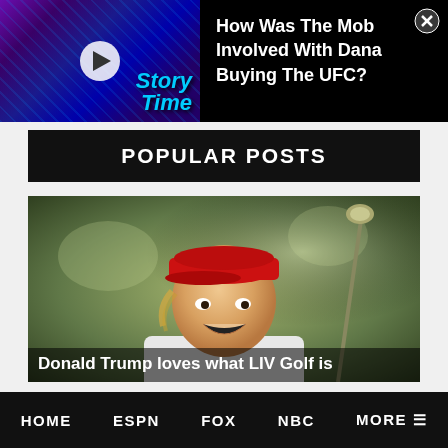[Figure (screenshot): Video thumbnail showing colorful graphic with 'Story Time' text and two figures, with a play button overlay]
How Was The Mob Involved With Dana Buying The UFC?
POPULAR POSTS
[Figure (photo): Photo of Donald Trump wearing a red cap and white shirt, holding a golf club with mouth open]
Donald Trump loves what LIV Golf is...
HOME  ESPN  FOX  NBC  MORE ☰